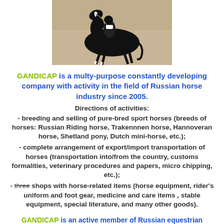[Figure (photo): A black horse with rider performing dressage, photographed outdoors on sand/dirt surface.]
GANDICAP is a multy-purpose constantly developing company with activity in the field of Russian horse industry since 2005.
Directions of activities:
- breeding and selling of pure-bred sport horses (breeds of horses: Russian Riding horse, Trakennnen horse, Hannoveran horse, Shetland pony, Dutch mini-horse, etc.);
- complete arrangement of export/import transportation of horses (transportation into/from the country, customs formalities, veterinary procedures and papers, micro chipping, etc.);
- three shops with horse-related items (horse equipment, rider's uniform and foot gear, medicine and care items , stable equipment, special literature, and many other goods).
GANDICAP is an active member of Russian equestrian